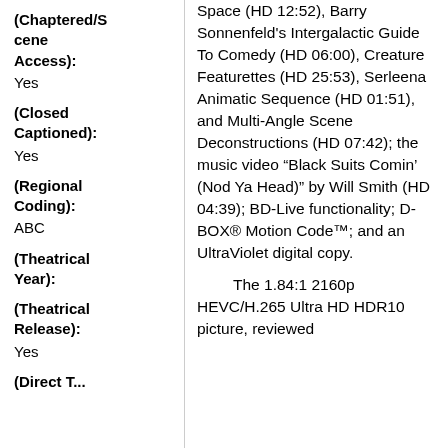(Chaptered/Scene Access): Yes
(Closed Captioned): Yes
(Regional Coding): ABC
(Theatrical Year):
(Theatrical Release): Yes
(Direct T...
Space (HD 12:52), Barry Sonnenfeld’s Intergalactic Guide To Comedy (HD 06:00), Creature Featurettes (HD 25:53), Serleena Animatic Sequence (HD 01:51), and Multi-Angle Scene Deconstructions (HD 07:42); the music video “Black Suits Comin’ (Nod Ya Head)” by Will Smith (HD 04:39); BD-Live functionality; D-BOX® Motion Code™; and an UltraViolet digital copy.
The 1.84:1 2160p HEVC/H.265 Ultra HD HDR10 picture, reviewed